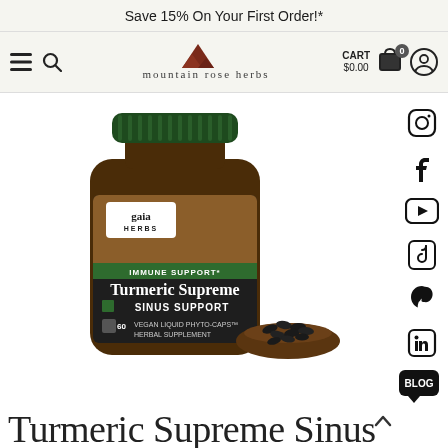Save 15% On Your First Order!*
[Figure (screenshot): Mountain Rose Herbs website navigation bar with hamburger menu, search icon, mountain rose herbs logo, cart showing $0.00, and user account icon]
[Figure (photo): Gaia Herbs Turmeric Supreme Sinus Support bottle (60 Vegan Liquid Phyto-Caps Herbal Supplement) with a small wooden bowl of black capsules beside it. The bottle has a dark green lid, amber glass body, and label showing IMMUNE SUPPORT, Turmeric Supreme, SINUS SUPPORT branding with turmeric root imagery.]
[Figure (infographic): Social media sidebar icons: Instagram, Facebook, YouTube, TikTok, Pinterest, LinkedIn, Blog]
Turmeric Supreme Sinus...